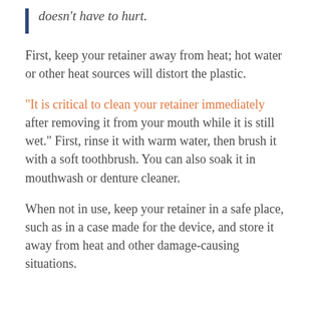doesn't have to hurt.
First, keep your retainer away from heat; hot water or other heat sources will distort the plastic.
"It is critical to clean your retainer immediately after removing it from your mouth while it is still wet." First, rinse it with warm water, then brush it with a soft toothbrush. You can also soak it in mouthwash or denture cleaner.
When not in use, keep your retainer in a safe place, such as in a case made for the device, and store it away from heat and other damage-causing situations.